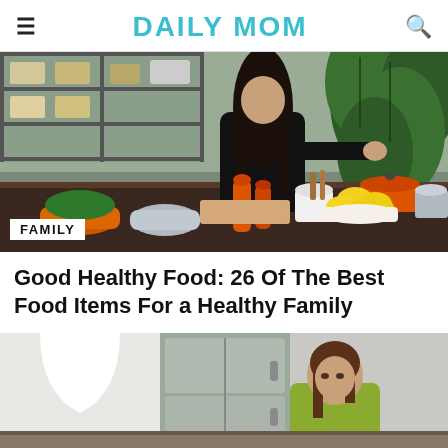DAILY MOM
[Figure (photo): Woman in black top cooking in a modern kitchen with orange Le Creuset pots, lemons, pepper mills, and a large fiddle leaf fig plant. FAMILY badge overlay at bottom left.]
Good Healthy Food: 26 Of The Best Food Items For a Healthy Family
[Figure (photo): Woman with brown hair in a yellow-green top in a modern kitchen, partial view.]